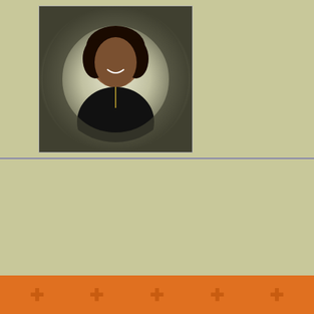[Figure (photo): Portrait photo of a woman with dark hair wearing a black top with a gold necklace, displayed in a circular vignette frame against a light background]
Welcome, gue...
Log In  Create Account
[Figure (logo): Facebook circular icon (blue with f)]
[Figure (logo): YouTube circular icon (dark with play button)]
© 2022, New Life Deliverance
newlifechurch1902@sbc...
[Figure (logo): ThisChurch logo with orange flame icon]
[Figure (other): Orange bottom bar with cross symbols]